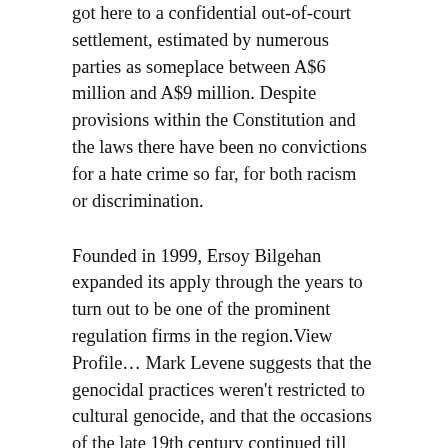got here to a confidential out-of-court settlement, estimated by numerous parties as someplace between A$6 million and A$9 million. Despite provisions within the Constitution and the laws there have been no convictions for a hate crime so far, for both racism or discrimination.
Founded in 1999, Ersoy Bilgehan expanded its apply through the years to turn out to be one of the prominent regulation firms in the region.View Profile... Mark Levene suggests that the genocidal practices weren't restricted to cultural genocide, and that the occasions of the late 19th century continued till 1990. The new Law on the Prevention of the Financing of the Proliferation of Weapons of Mass Destruction negatively affected the work of civil society organizations.
The hate marketing campaign additionally prompted numerous politicians, together with Selina Doğan of the Republican People's Party, to concern a statement.